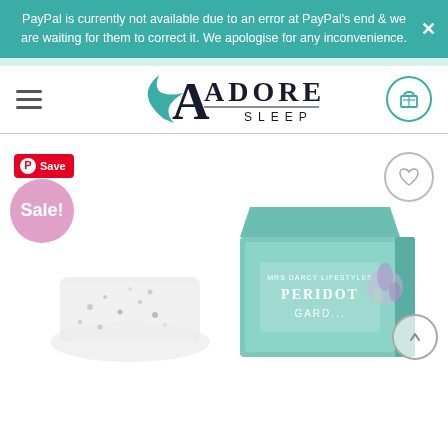PayPal is currently not available due to an error at PayPal's end & we are waiting for them to correct it. We apologise for any inconvenience.
[Figure (logo): Adore Sleep brand logo — stylized 'A' with a teal feather/wing motif, text ADORE SLEEP below]
[Figure (screenshot): E-commerce product page showing 'Sale!' badge, Pinterest Save button, wishlist heart button, and product image of a crystal/glass candle holder and a Mrs Darcy Lifestyles Peridot Garden boxed candle in mint green packaging]